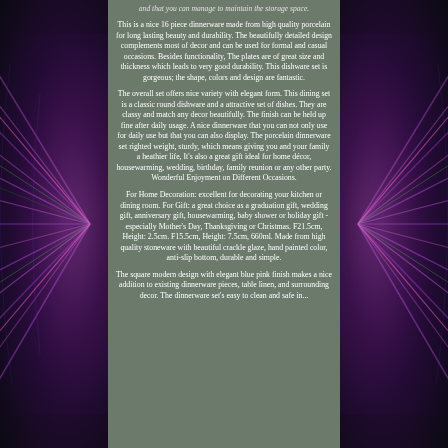and that you can manage to maintain the storage space.
This is a nice 16 piece dinnerware made from high quality porcelain for long lasting beauty and durability. The beautifully detailed design complements most of decor and can be used for formal and casual occasions. Besides functionality, The plates are of great size and thickness which leads to very good durability. This dishware set is gorgeous; the shape, colors and design are fantastic.
The overall set offers nice variety with elegant form. This dining set is a classic round dishware and a attractive set of dishes. They are classy and match any decor beautifully. The finish can be held up fine after daily usage. A nice dinnerware that you can not only use for daily use but that you can also display. The porcelain dinnerware set righted weight, sturdy, which means giving you and your family a heathier life, It's also a great gift ideal for home décor, housewarming, wedding, birthday, family reunion or any other party. Wonderful Enjoyment on Different Occasions.
For Home Decoration: excellent for decorating your kitchen or dining room. For Gift: a great choice as a graduation gift, wedding gift, anniversary gift, housewarming, baby shower or holiday gift - especially Mother's Day, Thanksgiving or Christmas. F21.5cm, Height: 2.5cm. F15.5cm, Height: 7.5cm, 660ml. Made from high quality stoneware with beautiful crackle glaze, hand painted color, anti-slip bottom, durable and simple.
The square modern design with elegant blue pink finish makes a nice addition to existing dinnerware pieces, table linen, and surrounding decor. The dinnerware set's easy to clean and safe in...